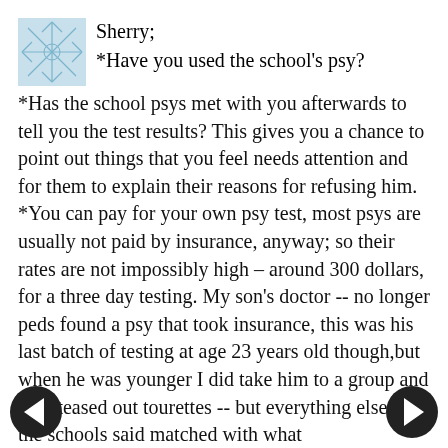[Figure (illustration): Small square avatar image with a blue/light geometric snowflake-like pattern on white background]
Sherry;
*Have you used the school's psy?
*Has the school psys met with you afterwards to tell you the test results? This gives you a chance to point out things that you feel needs attention and for them to explain their reasons for refusing him.
*You can pay for your own psy test, most psys are usually not paid by insurance, anyway; so their rates are not impossibly high – around 300 dollars, for a three day testing. My son's doctor -- no longer peds found a psy that took insurance, this was his last batch of testing at age 23 years old though,but when he was younger I did take him to a group and they teased out tourettes -- but everything else that the schools said matched with what